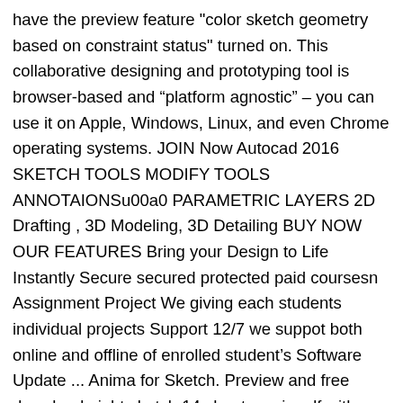have the preview feature "color sketch geometry based on constraint status" turned on. This collaborative designing and prototyping tool is browser-based and “platform agnostic” – you can use it on Apple, Windows, Linux, and even Chrome operating systems. JOIN Now Autocad 2016 SKETCH TOOLS MODIFY TOOLS ANNOTAIONSu00a0 PARAMETRIC LAYERS 2D Drafting , 3D Modeling, 3D Detailing BUY NOW OUR FEATURES Bring your Design to Life Instantly Secure secured protected paid coursesn Assignment Project We giving each students individual projects Support 12/7 we suppot both online and offline of enrolled student’s Software Update ... Anima for Sketch. Preview and free download night sketch 14 sheet music pdf with intermediate difficulty in best sheet music website. Back in Sketch, click Preview in Browser to Sync and Share your design with the world! You can preview your prototypes directly in Sketch, on Sketch Cloud — where you can share your prototypes with clients and colleagues — or on your iOS devices, using the Sketch Mirror app. Though there isn't a browser viewer (I've requested it though). I can use the keyboard